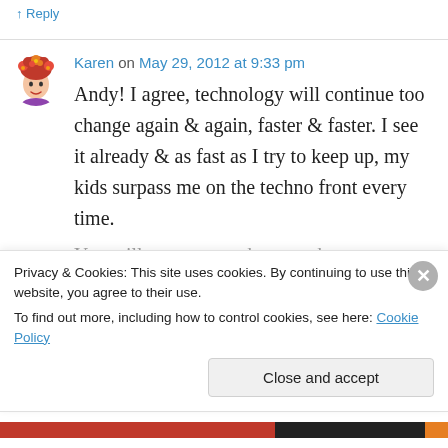↑ Reply
Karen on May 29, 2012 at 9:33 pm
Andy! I agree, technology will continue too change again & again, faster & faster. I see it already & as fast as I try to keep up, my kids surpass me on the techno front every time.
Privacy & Cookies: This site uses cookies. By continuing to use this website, you agree to their use.
To find out more, including how to control cookies, see here: Cookie Policy
Close and accept